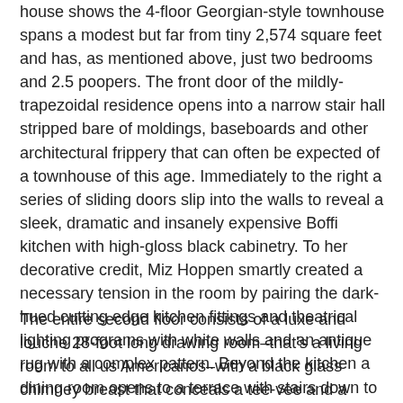house shows the 4-floor Georgian-style townhouse spans a modest but far from tiny 2,574 square feet and has, as mentioned above, just two bedrooms and 2.5 poopers. The front door of the mildly-trapezoidal residence opens into a narrow stair hall stripped bare of moldings, baseboards and other architectural frippery that can often be expected of a townhouse of this age. Immediately to the right a series of sliding doors slip into the walls to reveal a sleek, dramatic and insanely expensive Boffi kitchen with high-gloss black cabinetry. To her decorative credit, Miz Hoppen smartly created a necessary tension in the room by pairing the dark-hued cutting edge kitchen fittings and theatrical lighting programs with white walls and an antique rug with a complex pattern. Beyond the kitchen a dining room opens to a terrace with stairs down to the courtyard-style backyard that Miz Hoppen has not surprisingly done up with an equal amount of monochromatic theatricality as the interiors.
The entire second floor consists of a luxe and louche 28-foot long drawing room–that's a living room to all us Americanos–with a black glass chimney breast that conceals a tee-vee and a substantial terrace that looks over the backyard. The